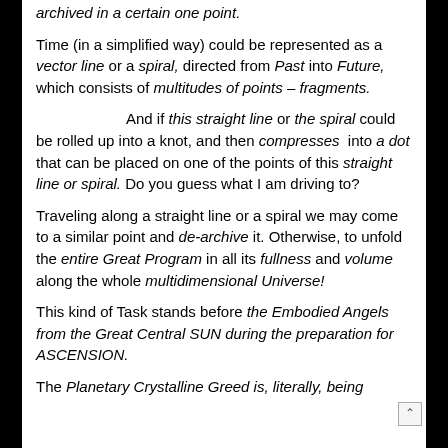archived in a certain one point.
Time (in a simplified way) could be represented as a vector line or a spiral, directed from Past into Future, which consists of multitudes of points – fragments.
And if this straight line or the spiral could be rolled up into a knot, and then compresses into a dot that can be placed on one of the points of this straight line or spiral. Do you guess what I am driving to?
Traveling along a straight line or a spiral we may come to a similar point and de-archive it. Otherwise, to unfold the entire Great Program in all its fullness and volume along the whole multidimensional Universe!
This kind of Task stands before the Embodied Angels from the Great Central SUN during the preparation for ASCENSION.
The Planetary Crystalline Greed is, literally, being